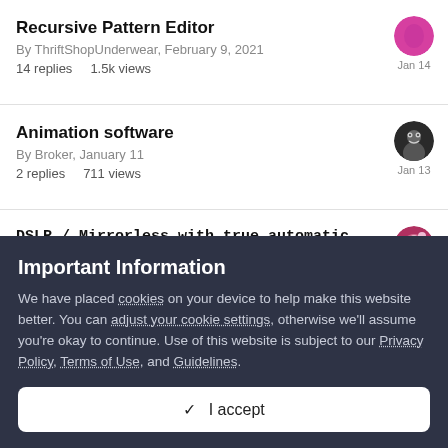Recursive Pattern Editor
By ThriftShopUnderwear, February 9, 2021
14 replies  1.5k views
Jan 14
Animation software
By Broker, January 11
2 replies  711 views
Jan 13
DSLR / Mirrorless with true automatic upload
By johnj, November 28, 2021
Jan 11
Important Information
We have placed cookies on your device to help make this website better. You can adjust your cookie settings, otherwise we'll assume you're okay to continue. Use of this website is subject to our Privacy Policy, Terms of Use, and Guidelines.
✓  I accept